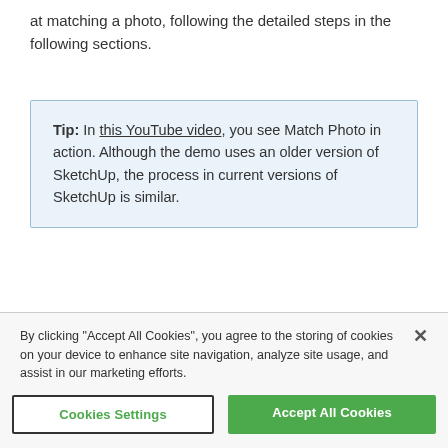at matching a photo, following the detailed steps in the following sections.
Tip: In this YouTube video, you see Match Photo in action. Although the demo uses an older version of SketchUp, the process in current versions of SketchUp is similar.
Table of Contents
By clicking "Accept All Cookies", you agree to the storing of cookies on your device to enhance site navigation, analyze site usage, and assist in our marketing efforts.
Cookies Settings
Accept All Cookies